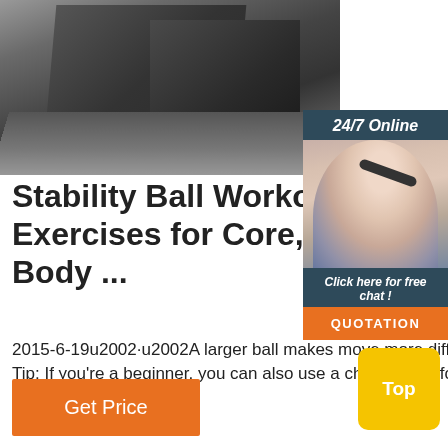[Figure (photo): Close-up photo of dark gray/charcoal fitness equipment or yoga block on a textured mat surface]
[Figure (photo): 24/7 Online chat widget with a smiling female customer service representative wearing a headset. Includes 'Click here for free chat!' text and orange QUOTATION button]
Stability Ball Workout: Exercises for Core, Lower Body ...
2015-6-19u2002·u2002A larger ball makes move more difficult, while a smaller ball is easier on your thighs. Tip: If you're a beginner, you can also use a chair or wall for help with balance. 11.
[Figure (other): Orange 'Get Price' button]
[Figure (other): Yellow 'Top' button in bottom right corner]